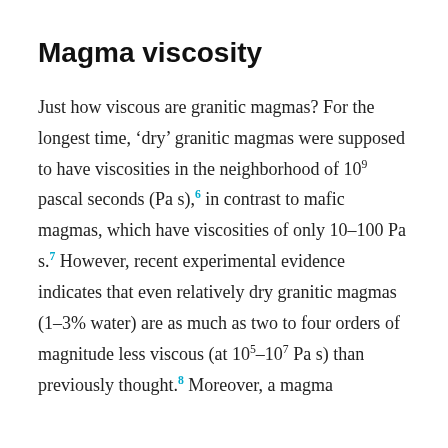Magma viscosity
Just how viscous are granitic magmas? For the longest time, 'dry' granitic magmas were supposed to have viscosities in the neighborhood of 10⁹ pascal seconds (Pa s),⁶ in contrast to mafic magmas, which have viscosities of only 10–100 Pa s.⁷ However, recent experimental evidence indicates that even relatively dry granitic magmas (1–3% water) are as much as two to four orders of magnitude less viscous (at 10⁵–10⁷ Pa s) than previously thought.⁸ Moreover, a magma